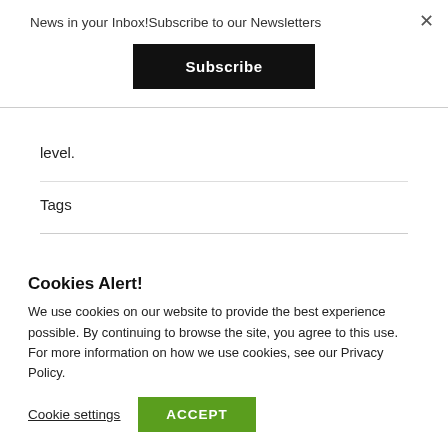News in your Inbox!Subscribe to our Newsletters
Subscribe
level.
Tags
Cookies Alert!
We use cookies on our website to provide the best experience possible. By continuing to browse the site, you agree to this use. For more information on how we use cookies, see our Privacy Policy.
Cookie settings
ACCEPT